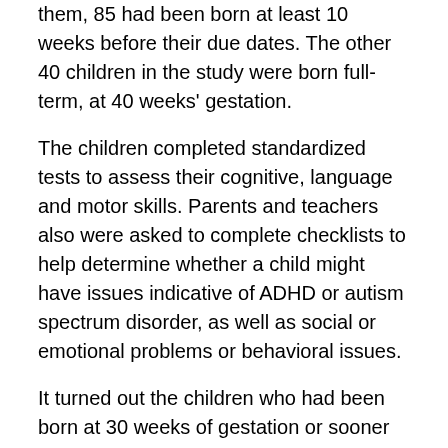them, 85 had been born at least 10 weeks before their due dates. The other 40 children in the study were born full-term, at 40 weeks' gestation.
The children completed standardized tests to assess their cognitive, language and motor skills. Parents and teachers also were asked to complete checklists to help determine whether a child might have issues indicative of ADHD or autism spectrum disorder, as well as social or emotional problems or behavioral issues.
It turned out the children who had been born at 30 weeks of gestation or sooner tended to fit into one of four groups. One group, representing 27% of the very preterm children, was found to be particularly resilient.
“They had cognitive, language and motor skills in the normal range, the range we would expect for children their